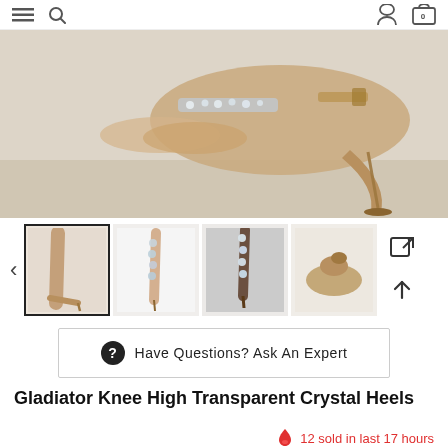navigation icons: menu, search, account, cart
[Figure (photo): Close-up photo of a woman's foot wearing a nude/clear transparent high heel stiletto sandal with crystal embellishments along the strap, on a light beige background.]
[Figure (photo): Thumbnail gallery row showing 4 product images of the Gladiator Knee High Transparent Crystal Heels from different angles: side full-leg view, front rhinestone detail, dark background rhinestone detail, and sole/bottom view.]
Have Questions? Ask An Expert
Gladiator Knee High Transparent Crystal Heels
12 sold in last 17 hours